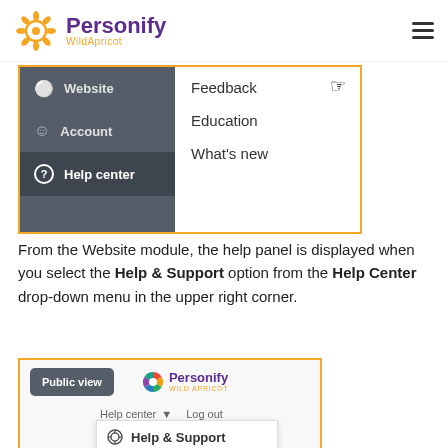[Figure (screenshot): Personify WildApricot logo with navigation header showing hamburger menu]
[Figure (screenshot): Help Center navigation menu showing Website, Account, Help center items on left, and Feedback, Education, What's new options on right with hand cursor]
From the Website module, the help panel is displayed when you select the Help & Support option from the Help Center drop-down menu in the upper right corner.
[Figure (screenshot): Website module interface showing Public view button, Personify Wild Apricot logo, Help center dropdown with Help & Support option visible]